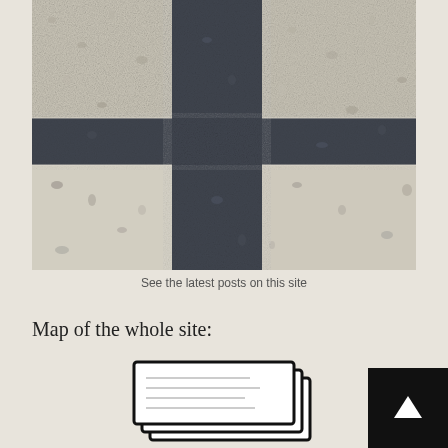[Figure (photo): Close-up photograph of paved ground showing a cross-shaped shadow cast on light-colored paving stones or gravel. The shadow forms a dark cross pattern against the lighter textured surface.]
See the latest posts on this site
Map of the whole site:
[Figure (illustration): Cartoon/illustration of stacked papers or documents, resembling a book or folder icon drawn in a simple line-art style with black outlines on white background.]